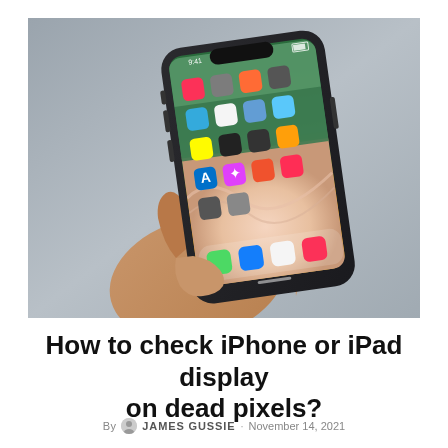[Figure (photo): A hand holding an iPhone X displaying the home screen with various app icons, against a gray background.]
How to check iPhone or iPad display on dead pixels?
By JAMES GUSSIE · November 14, 2021